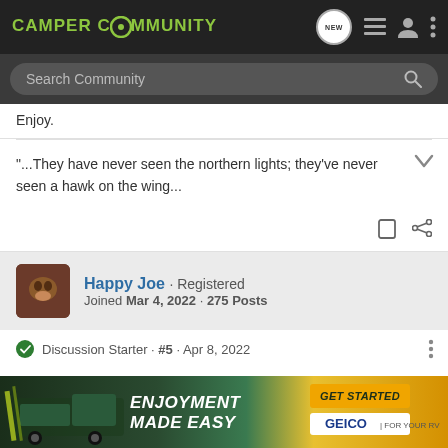CAMPER COMMUNITY
Search Community
Enjoy.
"...They have never seen the northern lights; they've never seen a hawk on the wing...
Happy Joe · Registered
Joined Mar 4, 2022 · 275 Posts
Discussion Starter · #5 · Apr 8, 2022
Just made up another tent ceiling light, for the future tent "porch".
[Figure (infographic): GEICO advertisement banner: ENJOYMENT MADE EASY - GET STARTED FOR YOUR RV]